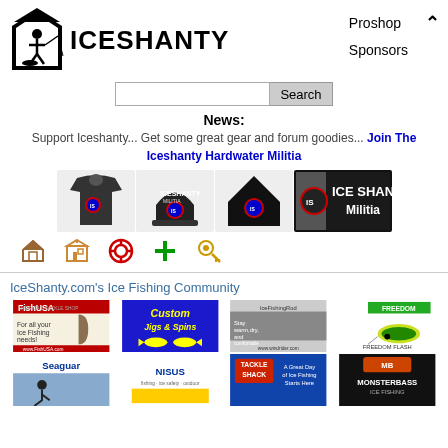[Figure (logo): IceShanty logo with black house/shanty icon and bold ICESHANTY text]
Proshop
Sponsors
[Figure (screenshot): Search bar with text input and Search button]
News:
Support Iceshanty... Get some great gear and forum goodies... Join The Iceshanty Hardwater Militia
[Figure (photo): Merchandise row: hoodie, hat/beanie, black cap, Ice Shanty Militia banner]
[Figure (infographic): Navigation icons: home, forum, lifering, plus/add, key]
IceShanty.com's Ice Fishing Community
[Figure (screenshot): Ad grid row 1: FishUSA, Custom Jigs & Spins, wind rider, Freedom Flash]
[Figure (screenshot): Ad grid row 2: Seaguar, Nisus, Tackle Shack, MonsterBass Ice Fishing]